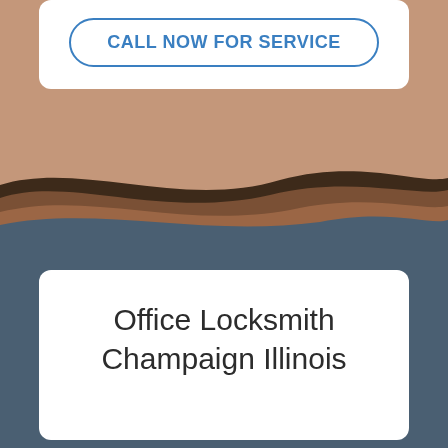CALL NOW FOR SERVICE
[Figure (illustration): Decorative wave transition between brown/tan background and dark blue-gray background sections]
Office Locksmith Champaign Illinois